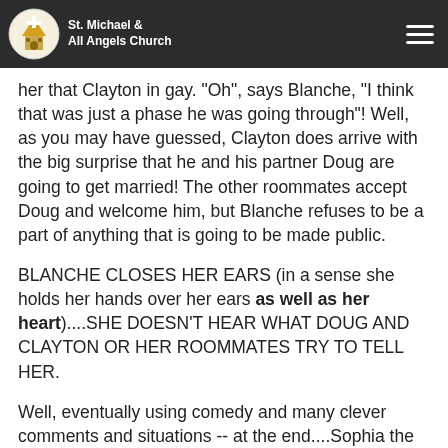St. Michael & All Angels Church
her that Clayton in gay. "Oh", says Blanche, "I think that was just a phase he was going through"! Well, as you may have guessed, Clayton does arrive with the big surprise that he and his partner Doug are going to get married! The other roommates accept Doug and welcome him, but Blanche refuses to be a part of anything that is going to be made public.
BLANCHE CLOSES HER EARS (in a sense she holds her hands over her ears as well as her heart)....SHE DOESN'T HEAR WHAT DOUG AND CLAYTON OR HER ROOMMATES TRY TO TELL HER.
Well, eventually using comedy and many clever comments and situations -- at the end....Sophia the elderly member of the household and the mother of Dorothy, speaks the words that Blanche finally hears. I guess Sophia might be said to symbolically play the part of the Holy Spirit.
Here's what Blanche says to Sophia as they sit across the table from one another..."Well it's easier for you, Sophia, to accept the situation...I help not your brother...